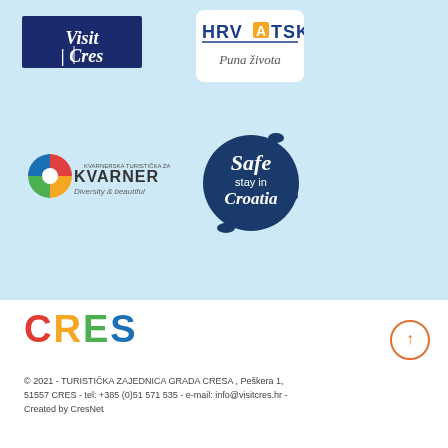[Figure (logo): Visit Cres logo - white italic text on dark navy blue background]
[Figure (logo): Hrvatska - Puna Života tourism logo with colorful letters and orange square A]
[Figure (logo): Kvarner - Diversity & beautiful regional tourism board logo with colorful pinwheel]
[Figure (logo): Safe stay in Croatia - dark blue circular brush-stroke badge with white text]
[Figure (logo): CRES colorful text logo in multicolor letters]
© 2021 - TURISTIČKA ZAJEDNICA GRADA CRESA , Peškera 1, 51557 CRES - tel: +385 (0)51 571 535 - e-mail: info@visitcres.hr - Created by CresNet